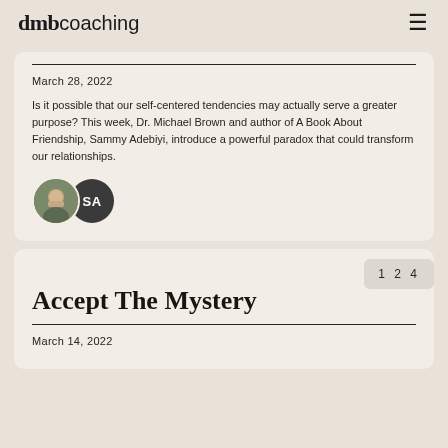dmb coaching
March 28, 2022
Is it possible that our self-centered tendencies may actually serve a greater purpose? This week, Dr. Michael Brown and author of A Book About Friendship, Sammy Adebiyi, introduce a powerful paradox that could transform our relationships.
[Figure (illustration): Two overlapping circular avatars: a photo of a man on the left and a dark circle with initials 'SA' on the right]
1 2 4
Accept The Mystery
March 14, 2022